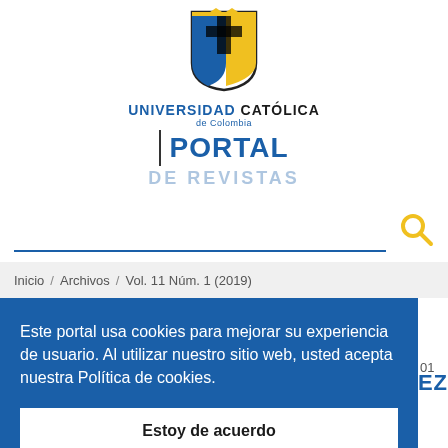[Figure (logo): Universidad Católica de Colombia shield logo and portal branding with UNIVERSIDAD CATÓLICA de Colombia | PORTAL DE REVISTAS text]
Inicio / Archivos / Vol. 11 Núm. 1 (2019)
Este portal usa cookies para mejorar su experiencia de usuario. Al utilizar nuestro sitio web, usted acepta nuestra Política de cookies.
Estoy de acuerdo